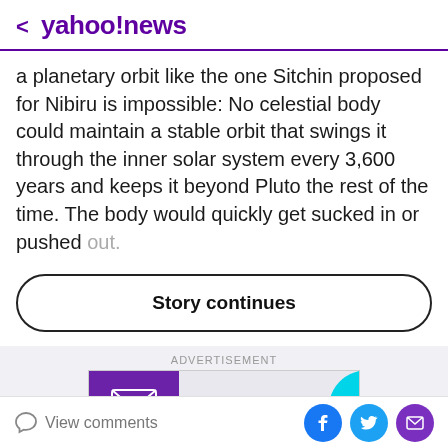< yahoo!news
a planetary orbit like the one Sitchin proposed for Nibiru is impossible: No celestial body could maintain a stable orbit that swings it through the inner solar system every 3,600 years and keeps it beyond Pluto the rest of the time. The body would quickly get sucked in or pushed out.
Story continues
ADVERTISEMENT
View comments